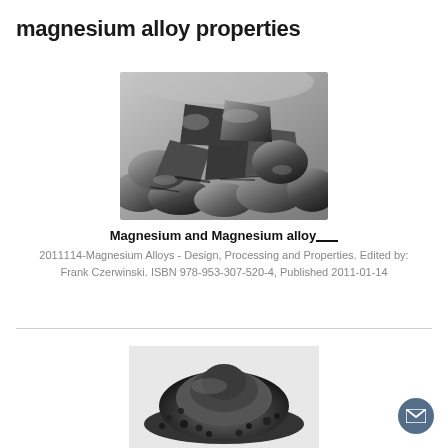magnesium alloy properties
[Figure (photo): Black and white photograph of chunky metallic magnesium alloy lumps/ingots piled together]
Magnesium and Magnesium alloy___
2011114-Magnesium Alloys - Design, Processing and Properties. Edited by: Frank Czerwinski. ISBN 978-953-307-520-4, Published 2011-01-14
[Figure (photo): Black and white photograph of a pile of small granular magnesium alloy pellets/powder]